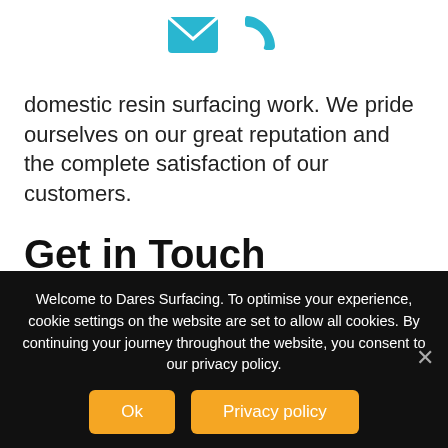[Figure (illustration): Two teal/cyan icons: an envelope (email) icon and a phone handset icon, centered at the top of the page]
domestic resin surfacing work. We pride ourselves on our great reputation and the complete satisfaction of our customers.
Get in Touch
For resin surfacing in Axminster, there is no one better suited for the job than us! Call today on 07540686877 or fill out our contact form online for a free, no-obligation quote. We look forward to hearing from you and providing you with a resin surfacing option which is truly bespoke,
Welcome to Dares Surfacing. To optimise your experience, cookie settings on the website are set to allow all cookies. By continuing your journey throughout the website, you consent to our privacy policy.